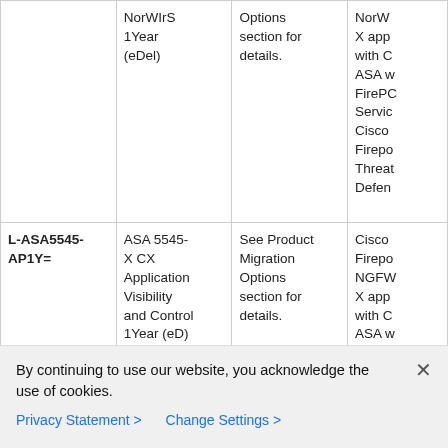| SKU | Description | Migration | Replacement |
| --- | --- | --- | --- |
| (partial - top row) | NorWIrS 1Year (eDel) | Options section for details. | NorW X app with C ASA w FirePC Servic Cisco Firepo Threat Defen |
| L-ASA5545-AP1Y= | ASA 5545-X CX Application Visibility and Control 1Year (eD) | See Product Migration Options section for details. | Cisco Firepo NGFW X app with C ASA w FirePC Servic Cisco |
By continuing to use our website, you acknowledge the use of cookies.
Privacy Statement > Change Settings >